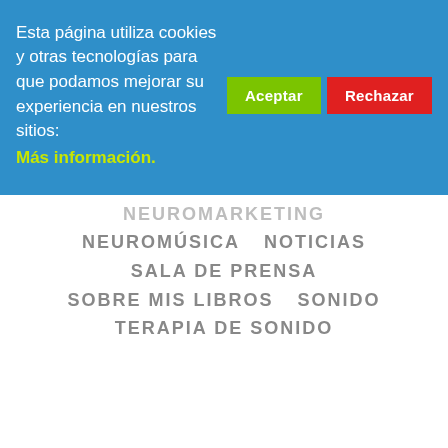Esta página utiliza cookies y otras tecnologías para que podamos mejorar su experiencia en nuestros sitios: Más información.
NEUROMARKETING
NEUROMÚSICA    NOTICIAS
SALA DE PRENSA
SOBRE MIS LIBROS    SONIDO
TERAPIA DE SONIDO